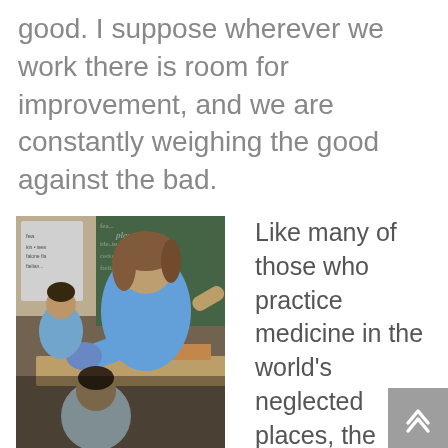good. I suppose wherever we work there is room for improvement, and we are constantly weighing the good against the bad.
[Figure (photo): A medical volunteer wearing blue gloves examines or treats a child in what appears to be a classroom setting. Another child is visible in the background. A green chalkboard with writing is visible behind them.]
Like many of those who practice medicine in the world's neglected places, the Floating Doctors do